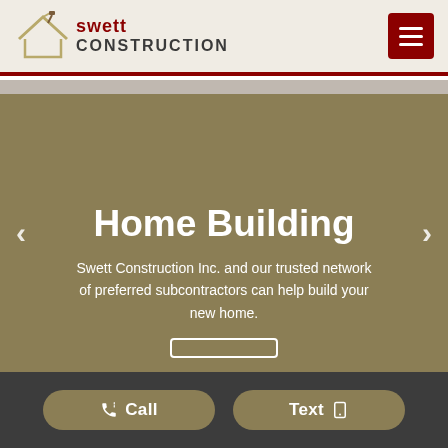Swett Construction
Home Building
Swett Construction Inc. and our trusted network of preferred subcontractors can help build your new home.
[Figure (screenshot): Website screenshot of Swett Construction homepage showing a slider with 'Home Building' heading]
Call  Text